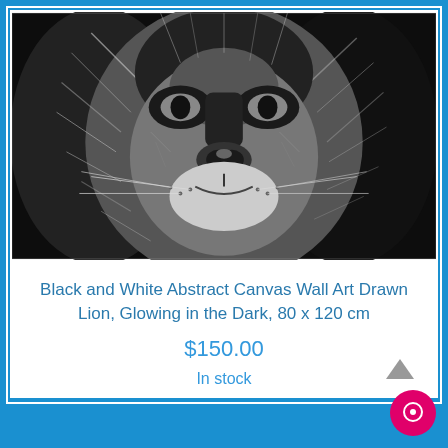[Figure (photo): Black and white abstract drawing of a lion's face, close-up, high contrast sketch style]
Black and White Abstract Canvas Wall Art Drawn Lion, Glowing in the Dark, 80 x 120 cm
$150.00
In stock